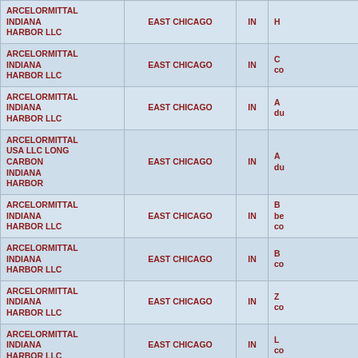| Facility Name | City | State | Description |
| --- | --- | --- | --- |
| ARCELORMITTAL INDIANA HARBOR LLC | EAST CHICAGO | IN | H... |
| ARCELORMITTAL INDIANA HARBOR LLC | EAST CHICAGO | IN | C... co... |
| ARCELORMITTAL INDIANA HARBOR LLC | EAST CHICAGO | IN | A... du... |
| ARCELORMITTAL USA LLC LONG CARBON INDIANA HARBOR | EAST CHICAGO | IN | A... du... |
| ARCELORMITTAL INDIANA HARBOR LLC | EAST CHICAGO | IN | B... be... co... |
| ARCELORMITTAL INDIANA HARBOR LLC | EAST CHICAGO | IN | B... co... |
| ARCELORMITTAL INDIANA HARBOR LLC | EAST CHICAGO | IN | Z... co... |
| ARCELORMITTAL INDIANA HARBOR LLC | EAST CHICAGO | IN | L... co... |
| ARCELORMITTAL INDIANA HARBOR LLC | EAST CHICAGO | IN | M... m... co... |